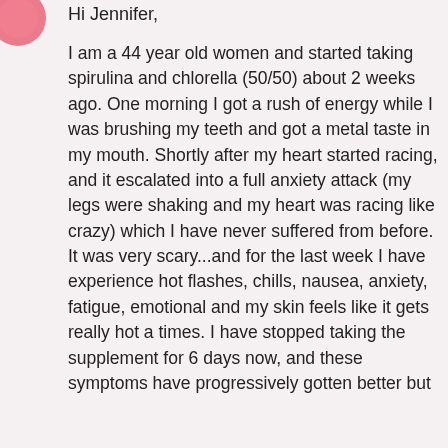[Figure (illustration): Partial pink/red circular avatar icon in top-left corner]
Hi Jennifer,
I am a 44 year old women and started taking spirulina and chlorella (50/50) about 2 weeks ago. One morning I got a rush of energy while I was brushing my teeth and got a metal taste in my mouth. Shortly after my heart started racing, and it escalated into a full anxiety attack (my legs were shaking and my heart was racing like crazy) which I have never suffered from before. It was very scary...and for the last week I have experience hot flashes, chills, nausea, anxiety, fatigue, emotional and my skin feels like it gets really hot a times. I have stopped taking the supplement for 6 days now, and these symptoms have progressively gotten better but